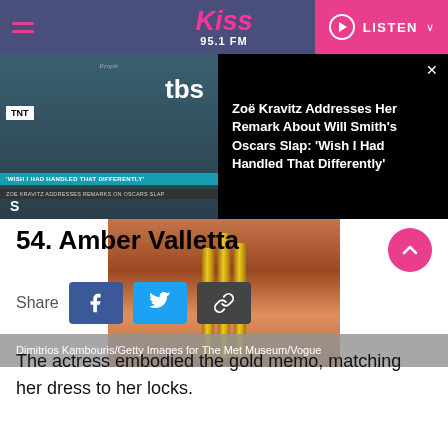[Figure (screenshot): Kiss 95.1 FM navigation bar with hamburger menu, logo, and LISTEN button]
[Figure (screenshot): Video thumbnail showing Zoë Kravitz at TBS/TNT backdrop with caption overlay, and black panel with headline: Zoë Kravitz Addresses Her Remark About Will Smith's Oscars Slap: 'Wish I Had Handled That Differently']
[Figure (photo): Photo of Amber Valletta in gold dress at Met Museum event, credited to Dimitrios Kambouris/Getty Images for The Met Museum/Vogue]
Dimitrios Kambouris/Getty Images for The Met Museum/Vogue
54. Amber Valletta
Share
The actress embodied the gold memo, matching her dress to her locks.